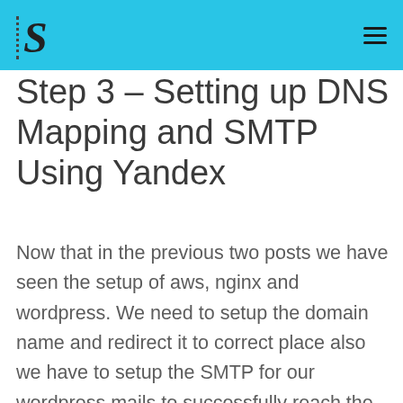S
Step 3 – Setting up DNS Mapping and SMTP Using Yandex
Now that in the previous two posts we have seen the setup of aws, nginx and wordpress. We need to setup the domain name and redirect it to correct place also we have to setup the SMTP for our wordpress mails to successfully reach the users.